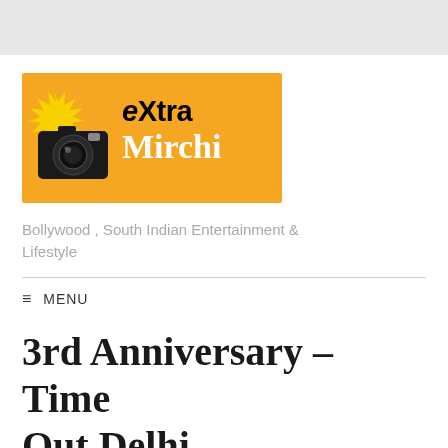[Figure (logo): eXtra Mirchi logo - orange rectangle with camera icon on left and bold text 'eXtra Mirchi' on right]
Bollywood , South Indian Entertainment & Lifestyle
≡ MENU
3rd Anniversary – Time Out Delhi